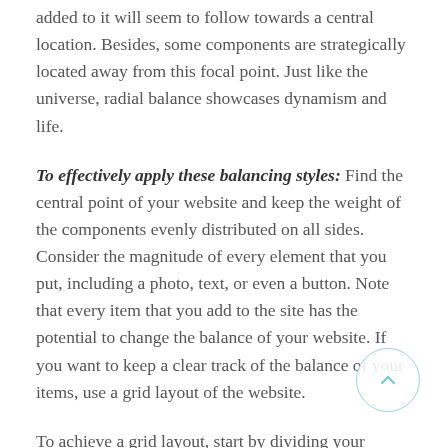added to it will seem to follow towards a central location. Besides, some components are strategically located away from this focal point. Just like the universe, radial balance showcases dynamism and life.
To effectively apply these balancing styles: Find the central point of your website and keep the weight of the components evenly distributed on all sides. Consider the magnitude of every element that you put, including a photo, text, or even a button. Note that every item that you add to the site has the potential to change the balance of your website. If you want to keep a clear track of the balance of your items, use a grid layout of the website.
To achieve a grid layout, start by dividing your homepage and all the other pages horizontally using strips and by scrolling...